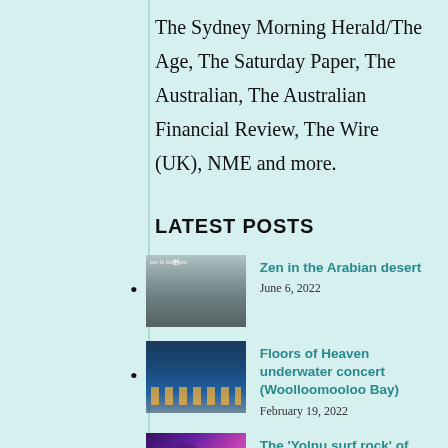The Sydney Morning Herald/The Age, The Saturday Paper, The Australian, The Australian Financial Review, The Wire (UK), NME and more.
LATEST POSTS
Zen in the Arabian desert — June 6, 2022
Floors of Heaven underwater concert (Woolloomooloo Bay) — February 19, 2022
The 'Yolŋu surf rock' of Yothu Yindi's next generation